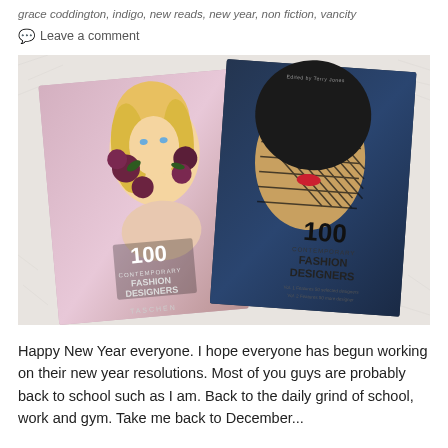grace coddington, indigo, new reads, new year, non fiction, vancity
💬 Leave a comment
[Figure (photo): Two book covers of '100 Contemporary Fashion Designers' published by Taschen, placed on a white fur surface. One cover features a blonde woman with flowers, the other a face covered with a net/mesh.]
Happy New Year everyone. I hope everyone has begun working on their new year resolutions. Most of you guys are probably back to school such as I am. Back to the daily grind of school, work and gym. Take me back to December...